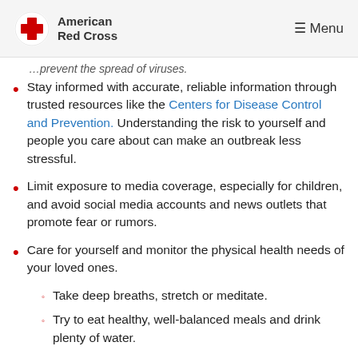American Red Cross | Menu
…through trusted resources like the Centers for Disease Control and Prevention.
Stay informed with accurate, reliable information through trusted resources like the Centers for Disease Control and Prevention. Understanding the risk to yourself and people you care about can make an outbreak less stressful.
Limit exposure to media coverage, especially for children, and avoid social media accounts and news outlets that promote fear or rumors.
Care for yourself and monitor the physical health needs of your loved ones.
Take deep breaths, stretch or meditate.
Try to eat healthy, well-balanced meals and drink plenty of water.